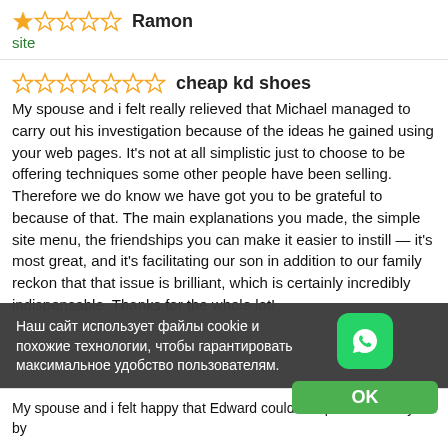★☆☆☆☆  Ramon
site
☆☆☆☆☆☆☆  cheap kd shoes
My spouse and i felt really relieved that Michael managed to carry out his investigation because of the ideas he gained using your web pages. It's not at all simplistic just to choose to be offering techniques some other people have been selling. Therefore we do know we have got you to be grateful to because of that. The main explanations you made, the simple site menu, the friendships you can make it easier to instill — it's most great, and it's facilitating our son in addition to our family reckon that that issue is brilliant, which is certainly incredibly indispensable. Thanks for the whole lot!
Наш сайт использует файлы cookie и похожие технологии, чтобы гарантировать максимальное удобство пользователям.
OK
My spouse and i felt happy that Edward could complete his analysis by